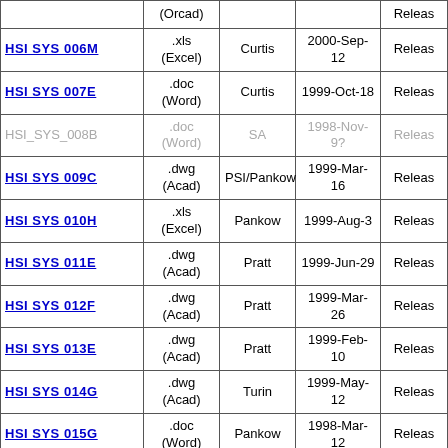| Document | Format | Author | Date | Status |
| --- | --- | --- | --- | --- |
|  | (Orcad) |  |  | Releas... |
| HSI SYS 006M | .xls (Excel) | Curtis | 2000-Sep-12 | Releas... |
| HSI SYS 007E | .doc (Word) | Curtis | 1999-Oct-18 | Releas... |
| HSI_SYS_008B | .doc (Word) | SA | 1998-Nov-9? | Releas... |
| HSI SYS 009C | .dwg (Acad) | PSI/Pankow | 1999-Mar-16 | Releas... |
| HSI SYS 010H | .xls (Excel) | Pankow | 1999-Aug-3 | Releas... |
| HSI SYS 011E | .dwg (Acad) | Pratt | 1999-Jun-29 | Releas... |
| HSI SYS 012F | .dwg (Acad) | Pratt | 1999-Mar-26 | Releas... |
| HSI SYS 013E | .dwg (Acad) | Pratt | 1999-Feb-10 | Releas... |
| HSI SYS 014G | .dwg (Acad) | Turin | 1999-May-12 | Releas... |
| HSI SYS 015G | .doc (Word) | Pankow | 1998-Mar-12 | Releas... |
| HSI SYS 016E | .doc (Word) | Pankow | 1999-Mar-12 | Releas... |
| HSI SYS 017F | .doc (Word) | Pankow | 1999-Mar-24 | Releas... |
| HSI SYS 018C | .dwg | PSI/Pankow | 1999-Mar-24 | Releas... |